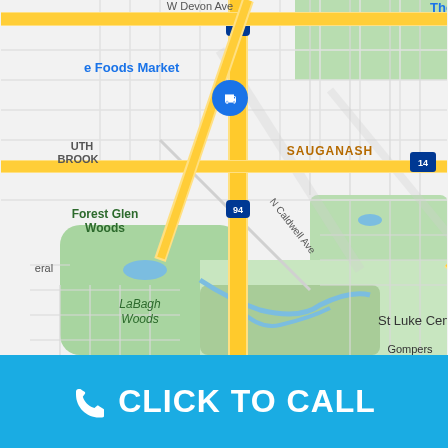[Figure (map): Google Maps screenshot showing the Sauganash and North Park neighborhoods in Chicago, IL. Visible landmarks include Forest Glen Woods, LaBagh Woods, St Luke Cemetery, Gompers (Samuel) Park, North Park Village Nature Center, and Bohemian National Cemetery. Major roads include W Devon Ave, W Peterson Ave, N Caldwell Ave, N Rogers Ave, N Pulaski Rd, and Interstate 94. A Whole Foods Market shopping cart pin is visible near the top.]
CLICK TO CALL